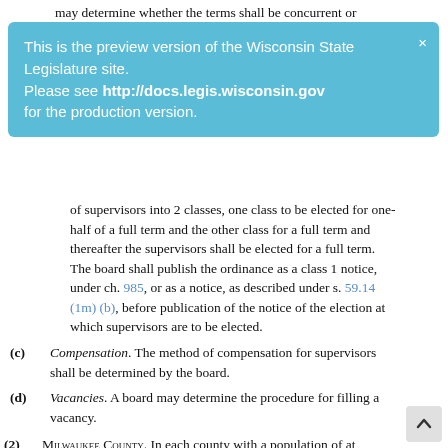may determine whether the terms shall be concurrent or staggered. Supervisors shall be elected at the election to be
[Figure (screenshot): Blue preview banner overlay reading: This is the preview version of the Wisconsin State Legislature site. Please see http://docs.legis.wisconsin.gov for the production version. With a close (×) button in the top right.]
of supervisors into 2 classes, one class to be elected for one half of a full term and the other class for a full term and thereafter the supervisors shall be elected for a full term. The board shall publish the ordinance as a class 1 notice, under ch. 985, or as a notice, as described under s. 59.14 (1m) (b), before publication of the notice of the election at which supervisors are to be elected.
(c) Compensation. The method of compensation for supervisors shall be determined by the board.
(d) Vacancies. A board may determine the procedure for filling a vacancy.
(2) Milwaukee County. In each county with a population of at least 750,000:
(a) Composition; supervisory districts. Within 60 days after the population count by census block, established in the decennial federal census of population, and maps showing the location and numbering of census blocks become available in printed form from the federal government or are published for distribution by an agency of this state, but